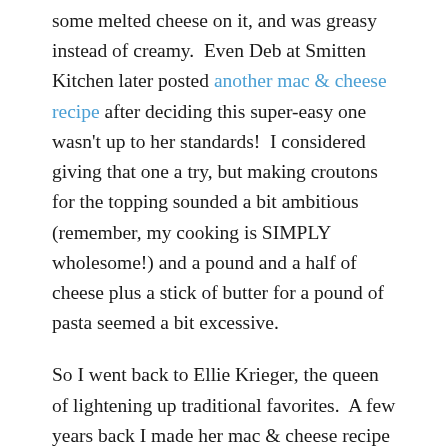some melted cheese on it, and was greasy instead of creamy.  Even Deb at Smitten Kitchen later posted another mac & cheese recipe after deciding this super-easy one wasn't up to her standards!  I considered giving that one a try, but making croutons for the topping sounded a bit ambitious (remember, my cooking is SIMPLY wholesome!) and a pound and a half of cheese plus a stick of butter for a pound of pasta seemed a bit excessive.
So I went back to Ellie Krieger, the queen of lightening up traditional favorites.  A few years back I made her mac & cheese recipe for my in-laws, but couldn't really remember if I liked it.  Time to try again!  Well, I am very happy with the results.  This recipe is way more wholesome – there is only roughly a half pound of